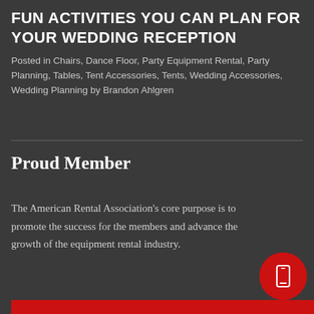FUN ACTIVITIES YOU CAN PLAN FOR YOUR WEDDING RECEPTION
Posted in Chairs, Dance Floor, Party Equipment Rental, Party Planning, Tables, Tent Accessories, Tents, Wedding Accessories, Wedding Planning by Brandon Ahlgren
Proud Member
The American Rental Association's core purpose is to promote the success for the members and advance the growth of the equipment rental industry.